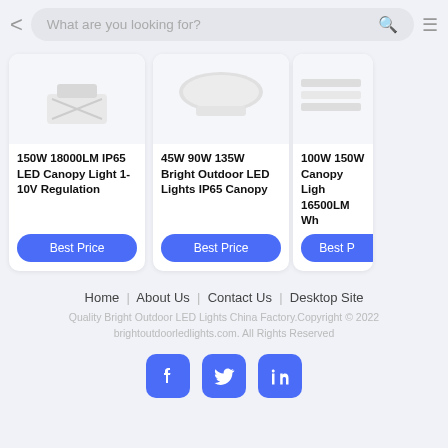What are you looking for?
[Figure (screenshot): Product card 1: 150W 18000LM IP65 LED Canopy Light 1-10V Regulation with Best Price button]
[Figure (screenshot): Product card 2: 45W 90W 135W Bright Outdoor LED Lights IP65 Canopy with Best Price button]
[Figure (screenshot): Product card 3 (partial): 100W 150W Canopy Light 16500LM with Best Price button (partially visible)]
Home | About Us | Contact Us | Desktop Site
Quality Bright Outdoor LED Lights China Factory.Copyright © 2022 brightoutdoorledlights.com. All Rights Reserved